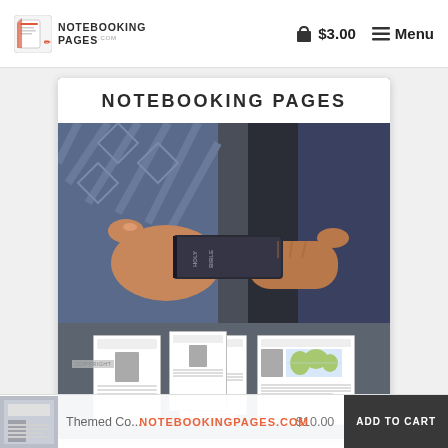NOTEBOOKING PAGES — $3.00 — Menu
[Figure (screenshot): Product listing screenshot from NotebookingPages.com showing a 'NOTEBOOKING PAGES' product card with a photo of two hands holding a Holy Bible, and sample notebooking worksheet pages below.]
Themed Co... $10.00 NOTEBOOKINGPAGES.COM ADD TO CART